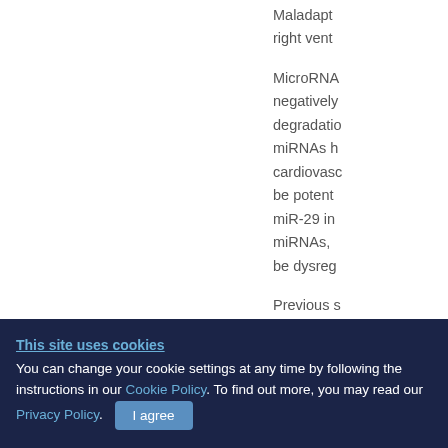Maladapt right vent
MicroRNA negatively degradatio miRNAs h cardiovasc be potent miR-29 in miRNAs, be dysreg
Previous s failure an
This site uses cookies
You can change your cookie settings at any time by following the instructions in our Cookie Policy. To find out more, you may read our Privacy Policy. I agree